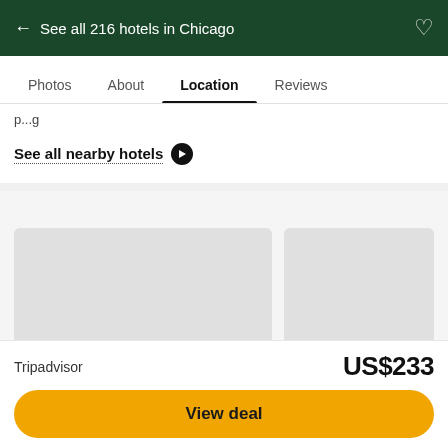← See all 216 hotels in Chicago
Photos  About  Location  Reviews
See all nearby hotels ➤
[Figure (photo): Two hotel or location image placeholders (gray placeholder rectangles) shown side by side]
Tripadvisor  US$233
View deal